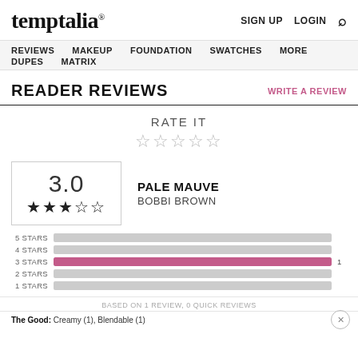temptalia® | SIGN UP LOGIN 🔍
REVIEWS  MAKEUP  FOUNDATION  SWATCHES  MORE  DUPES  MATRIX
READER REVIEWS
WRITE A REVIEW
RATE IT ☆☆☆☆☆
3.0 ★★★☆☆
PALE MAUVE
BOBBI BROWN
[Figure (bar-chart): Star ratings breakdown]
BASED ON 1 REVIEW, 0 QUICK REVIEWS
The Good: Creamy (1), Blendable (1)